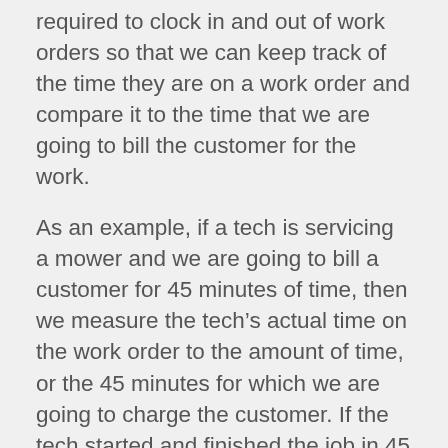required to clock in and out of work orders so that we can keep track of the time they are on a work order and compare it to the time that we are going to bill the customer for the work.
As an example, if a tech is servicing a mower and we are going to bill a customer for 45 minutes of time, then we measure the tech's actual time on the work order to the amount of time, or the 45 minutes for which we are going to charge the customer. If the tech started and finished the job in 45 minutes, then they would have been 100% efficient. If they started and finished the job in one hour then they would have been 75% efficient. On the other hand, if they started and completed the job in 30 minutes, they would have been 150%